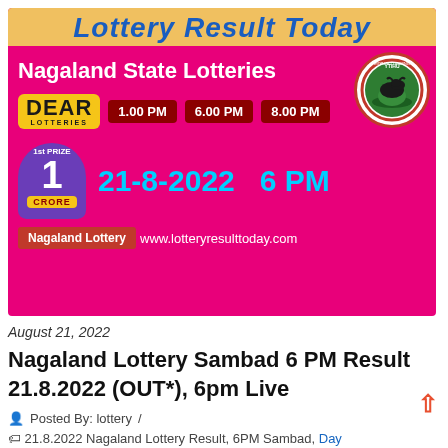[Figure (illustration): Nagaland State Lotteries promotional banner. Pink/magenta background with yellow top bar reading 'Lottery Result Today' in blue italic text. Features DEAR Lotteries badge, time slots (1.00 PM, 6.00 PM, 8.00 PM), date 21-8-2022 and 6 PM in cyan, 1 Crore prize badge in purple, Nagaland Lottery tag, and website www.lotteryresulttoday.com. Nagaland government circular logo top right.]
August 21, 2022
Nagaland Lottery Sambad 6 PM Result 21.8.2022 (OUT*), 6pm Live
Posted By: lottery /
21.8.2022 Nagaland Lottery Result, 6PM Sambad, Day Evening Result 6PM, Dear Lottery result 6 PM, Lottery